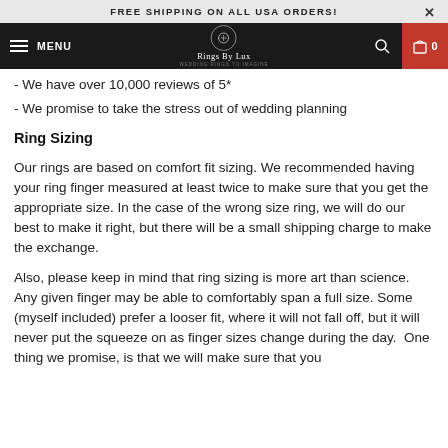FREE SHIPPING ON ALL USA ORDERS!
[Figure (screenshot): Website navigation bar with hamburger menu, MENU text, Rings By Lux logo, search icon, and cart icon with 0 count on red background]
- We have over 10,000 reviews of 5*
- We promise to take the stress out of wedding planning
Ring Sizing
Our rings are based on comfort fit sizing. We recommended having your ring finger measured at least twice to make sure that you get the appropriate size. In the case of the wrong size ring, we will do our best to make it right, but there will be a small shipping charge to make the exchange.
Also, please keep in mind that ring sizing is more art than science. Any given finger may be able to comfortably span a full size. Some (myself included) prefer a looser fit, where it will not fall off, but it will never put the squeeze on as finger sizes change during the day.  One thing we promise, is that we will make sure that you